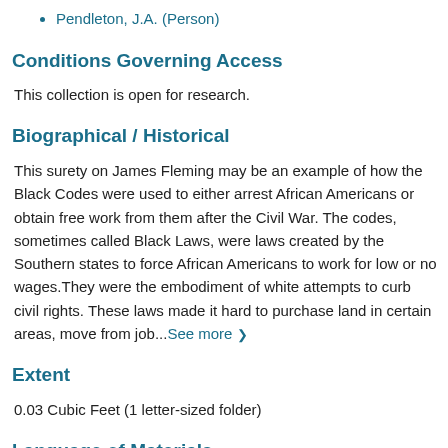Pendleton, J.A. (Person)
Conditions Governing Access
This collection is open for research.
Biographical / Historical
This surety on James Fleming may be an example of how the Black Codes were used to either arrest African Americans or obtain free work from them after the Civil War. The codes, sometimes called Black Laws, were laws created by the Southern states to force African Americans to work for low or no wages.They were the embodiment of white attempts to curb civil rights. These laws made it hard to purchase land in certain areas, move from job...See more ❯
Extent
0.03 Cubic Feet (1 letter-sized folder)
Language of Materials